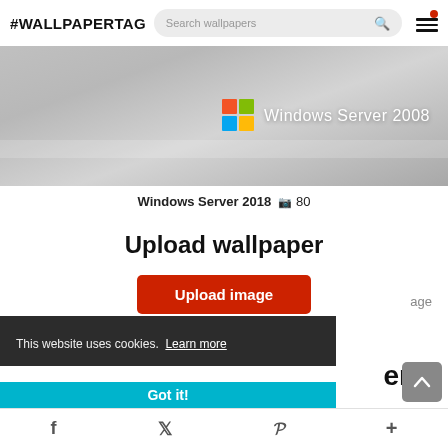#WALLPAPERTAG  Search wallpapers [menu icon]
[Figure (screenshot): Windows Server 2008 wallpaper thumbnail — grey gradient background with Windows logo and 'Windows Server 2008' text]
Windows Server 2018  🖼 80
Upload wallpaper
Upload image (button)
image
This website uses cookies.  Learn more
er
Got it!
f  t  P  +